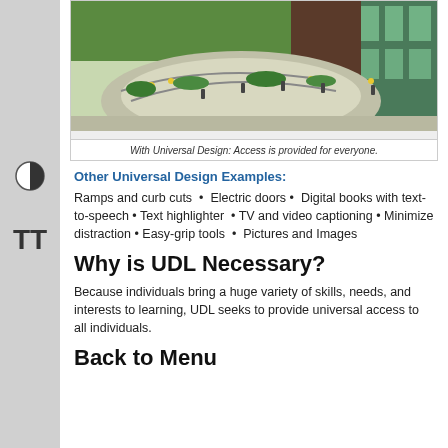[Figure (photo): Outdoor photo showing a curved accessible ramp with railings, landscaped with yellow flowers and green shrubs, beside a building with green glass facade.]
With Universal Design: Access is provided for everyone.
Other Universal Design Examples:
Ramps and curb cuts  •  Electric doors •  Digital books with text-to-speech • Text highlighter  • TV and video captioning • Minimize distraction • Easy-grip tools  •  Pictures and Images
Why is UDL Necessary?
Because individuals bring a huge variety of skills, needs, and interests to learning, UDL seeks to provide universal access to all individuals.
Back to Menu